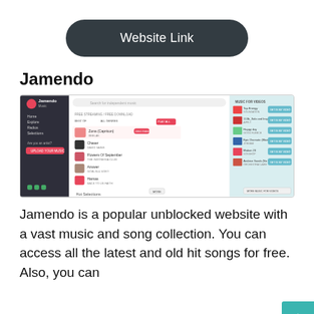Website Link
Jamendo
[Figure (screenshot): Screenshot of Jamendo Music website showing music streaming interface with song list and 'Music for Videos' sidebar]
Jamendo is a popular unblocked website with a vast music and song collection. You can access all the latest and old hit songs for free. Also, you can